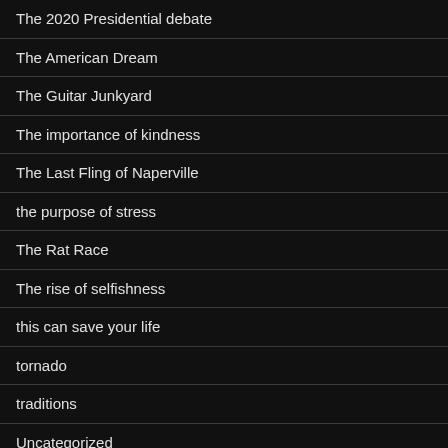The 2020 Presidential debate
The American Dream
The Guitar Junkyard
The importance of kindness
The Last Fling of Naperville
the purpose of stress
The Rat Race
The rise of selfishness
this can save your life
tornado
traditions
Uncategorized
understanding guilt